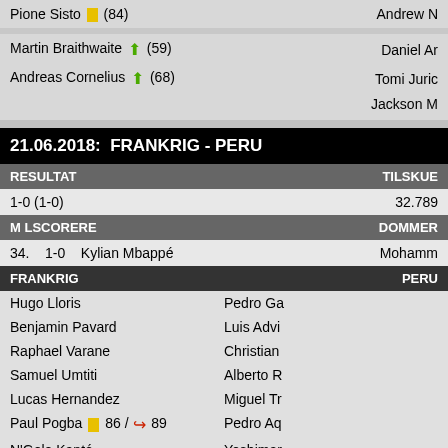Pione Sisto 🟨 (84) | Andrew N...
Martin Braithwaite ↑ (59) | Daniel Ar...
Andreas Cornelius ↑ (68) | Tomi Juri...
Jackson M...
21.06.2018:  FRANKRIG - PERU
| RESULTAT | TILSKUE... |
| --- | --- |
| 1-0 (1-0) | 32.789 |
| M LSCORERE | DOMMER... |
| --- | --- |
| 34.    1-0    Kylian Mbappé | Mohamm... |
| FRANKRIG | PERU |
| --- | --- |
| Hugo Lloris | Pedro Ga... |
| Benjamin Pavard | Luis Advi... |
| Raphael Varane | Christian ... |
| Samuel Umtiti | Alberto R... |
| Lucas Hernandez | Miguel Tr... |
| Paul Pogba 🟨 86 / 🔴 89 | Pedro Aq... |
| N'Golo Kanté | Yoshimar... |
| Kylian Mbappé ⚽ 34 / 🔴 75 | André Ca... |
| Antoine Griezmann 🔴 80 | Christian ... |